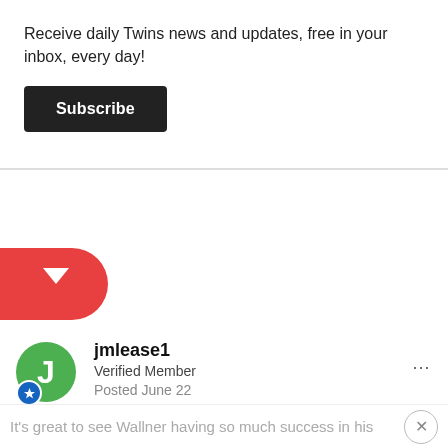Receive daily Twins news and updates, free in your inbox, every day!
Subscribe
[Figure (other): Red pill-shaped back-to-top button with upward arrow, positioned on the left edge]
jmlease1
Verified Member
Posted June 22
It's great to see Wallner having so much success in his